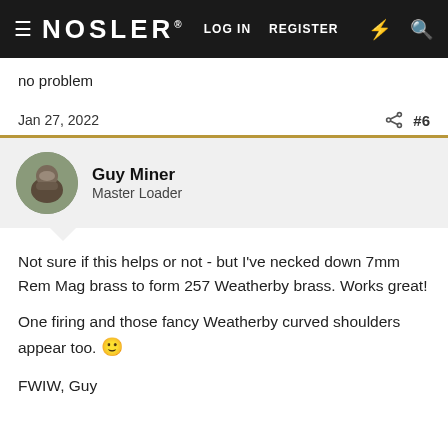NOSLER® LOG IN  REGISTER
no problem
Jan 27, 2022  #6
Guy Miner
Master Loader
Not sure if this helps or not - but I've necked down 7mm Rem Mag brass to form 257 Weatherby brass. Works great!
One firing and those fancy Weatherby curved shoulders appear too. 🙂
FWIW, Guy